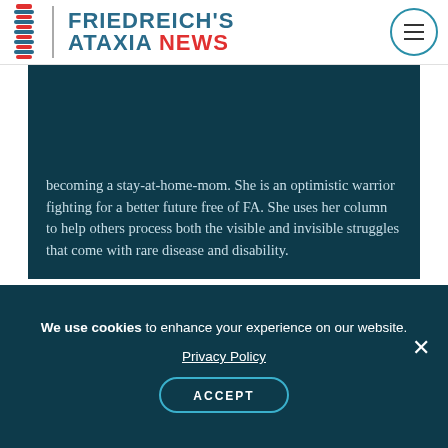[Figure (logo): Friedreich's Ataxia News logo with spine icon, blue and red text]
becoming a stay-at-home-mom. She is an optimistic warrior fighting for a better future free of FA. She uses her column to help others process both the visible and invisible struggles that come with rare disease and disability.
Tags
We use cookies to enhance your experience on our website. Privacy Policy ACCEPT